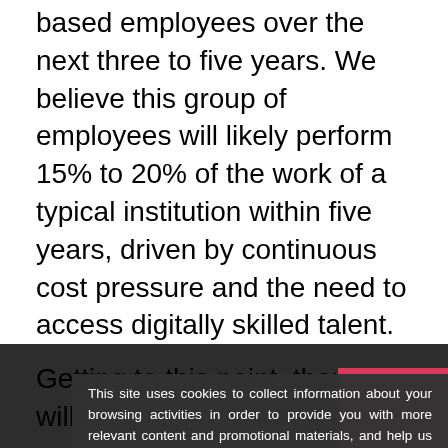based employees over the next three to five years. We believe this group of employees will likely perform 15% to 20% of the work of a typical institution within five years, driven by continuous cost pressure and the need to access digitally skilled talent.
Getting to this point, though, will require overcoming several obstacles. When it comes to cr[eating]... respondents cite most commonly haven't changed much since our 2019 report and include confidentiality concerns, a lack of knowledge, regulatory risk and overall risk avoidance. In addition, our experience shows that centra[l]...
This site uses cookies to collect information about your browsing activities in order to provide you with more relevant content and promotional materials, and help us understand your interests and enhance the site. By continuing to browse this site you agree to the use of cookies. Visit our cookie policy to learn more.